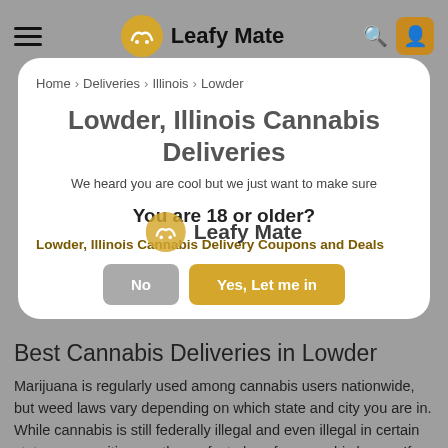Leafy Mate
Home > Deliveries > Illinois > Lowder
Lowder, Illinois Cannabis Deliveries
We heard you are cool but we just want to make sure
You are 18 or older?
Lowder, Illinois Cannabis Delivery Coupons and Deals
No   Yes, Let me in
Best Cannabis Deliveries in Lowder
Marijuana is regularly used among cannabis users nationwide, but weed laws vary depending on which state and city you are in. While cannabis is still federally illegal and even illegal in certain states, some cities are the perfect place for cannabis lovers. If you're on the search for the top weed-friendly destinations in the U.S., Leafy Mate is here to help connect you to dispensaries that